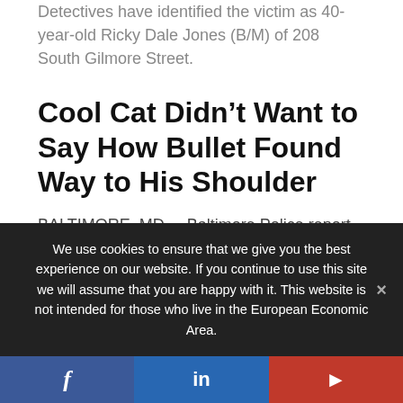Detectives have identified the victim as 40-year-old Ricky Dale Jones (B/M) of 208 South Gilmore Street.
Cool Cat Didn’t Want to Say How Bullet Found Way to His Shoulder
BALTIMORE, MD. – Baltimore Police report that on March 21, 2018, at approximately 1:46 p.m., Southwest District patrol officers responded to an area hospital
We use cookies to ensure that we give you the best experience on our website. If you continue to use this site we will assume that you are happy with it. This website is not intended for those who live in the European Economic Area.